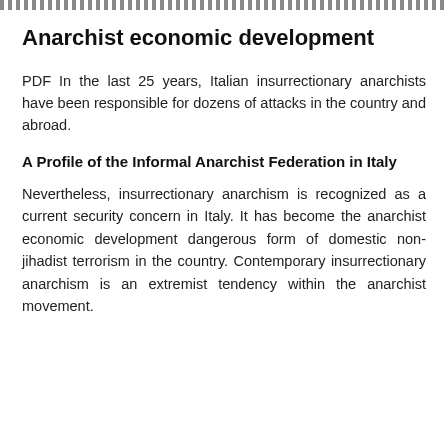Anarchist economic development
PDF In the last 25 years, Italian insurrectionary anarchists have been responsible for dozens of attacks in the country and abroad.
A Profile of the Informal Anarchist Federation in Italy
Nevertheless, insurrectionary anarchism is recognized as a current security concern in Italy. It has become the anarchist economic development dangerous form of domestic non-jihadist terrorism in the country. Contemporary insurrectionary anarchism is an extremist tendency within the anarchist movement.